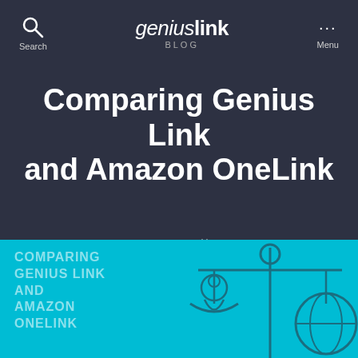geniuslink BLOG | Search | Menu
Comparing Genius Link and Amazon OneLink
By Jesse Lakes — July 13, 2017
[Figure (illustration): Cyan banner with text 'COMPARING GENIUS LINK AND AMAZON ONELINK' on the left and a balance scale illustration on the right, rendered in outline style on cyan background.]